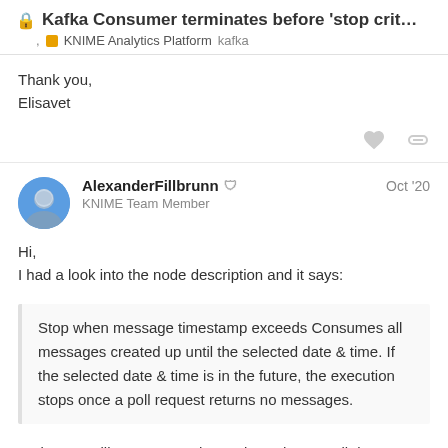Kafka Consumer terminates before 'stop crit...
KNIME Analytics Platform  kafka
Thank you,
Elisavet
AlexanderFillbrunn
KNIME Team Member
Oct '20
Hi,
I had a look into the node description and it says:
Stop when message timestamp exceeds Consumes all messages created up until the selected date & time. If the selected date & time is in the future, the execution stops once a poll request returns no messages.
So it seems like no matter the setting, when a poll does not